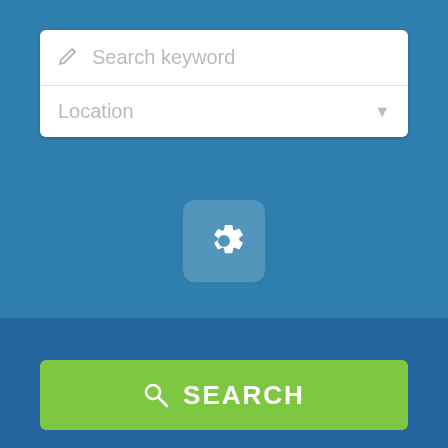[Figure (screenshot): Search bar UI with keyword input and location dropdown on blue background]
[Figure (screenshot): Settings gear button on blue background]
[Figure (screenshot): Green SEARCH button with magnifier icon]
Birth Injury Lawyer
[Figure (screenshot): Tweet button in Twitter blue]